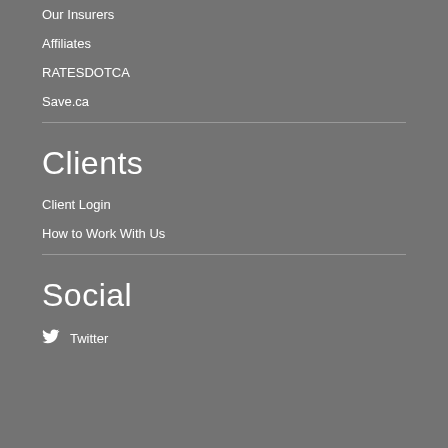Our Insurers
Affiliates
RATESDOTCA
Save.ca
Clients
Client Login
How to Work With Us
Social
Twitter